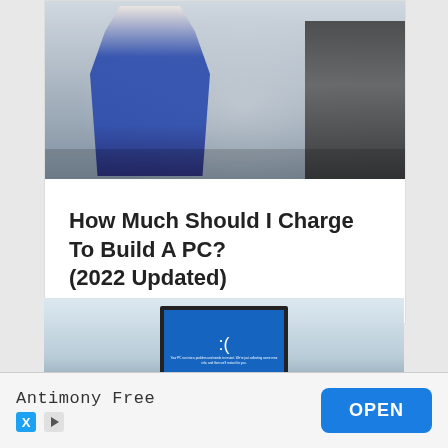[Figure (photo): Technician in blue overalls repairing a desktop PC, with components and tools on the workbench, open PC case visible on the right]
How Much Should I Charge To Build A PC? (2022 Updated)
[Figure (photo): Laptop displaying Windows Blue Screen of Death (BSOD) with sad face emoticon :( in an office/room setting]
Antimony Free
OPEN